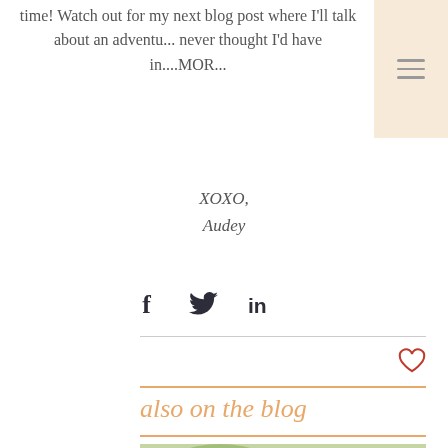time! Watch out for my next blog post where I'll talk about an adventu... never thought I'd have in....MOR...
XOXO,
Audey
[Figure (other): Social share icons: Facebook (f), Twitter (bird), LinkedIn (in)]
[Figure (other): Heart/like icon outline in red]
also on the blog
[Figure (photo): Outdoor photo showing a garden structure with greenery/plants]